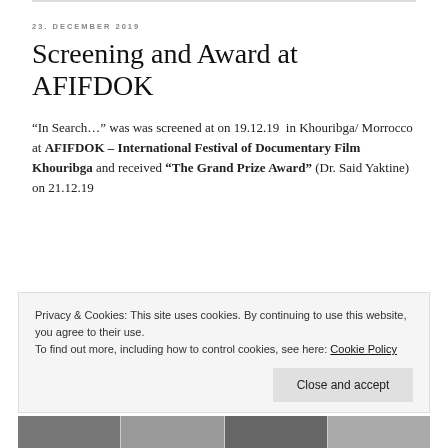23. DECEMBER 2019
Screening and Award at AFIFDOK
“In Search…” was was screened at on 19.12.19 in Khouribga/ Morrocco at AFIFDOK – International Festival of Documentary Film Khouribga and received “The Grand Prize Award” (Dr. Said Yaktine) on 21.12.19
Privacy & Cookies: This site uses cookies. By continuing to use this website, you agree to their use.
To find out more, including how to control cookies, see here: Cookie Policy
[Figure (photo): Strip of photos at the bottom of the page, partially visible]